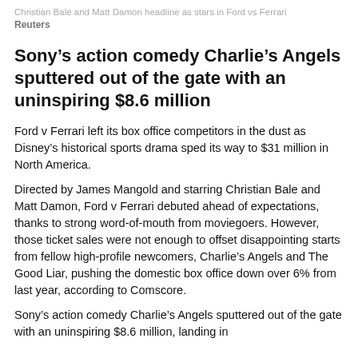Christian Bale and Matt Damon headline as stars in Ford vs Ferrari
Reuters
Sony’s action comedy Charlie’s Angels sputtered out of the gate with an uninspiring $8.6 million
Ford v Ferrari left its box office competitors in the dust as Disney’s historical sports drama sped its way to $31 million in North America.
Directed by James Mangold and starring Christian Bale and Matt Damon, Ford v Ferrari debuted ahead of expectations, thanks to strong word-of-mouth from moviegoers. However, those ticket sales were not enough to offset disappointing starts from fellow high-profile newcomers, Charlie’s Angels and The Good Liar, pushing the domestic box office down over 6% from last year, according to Comscore.
Sony’s action comedy Charlie’s Angels sputtered out of the gate with an uninspiring $8.6 million, landing in